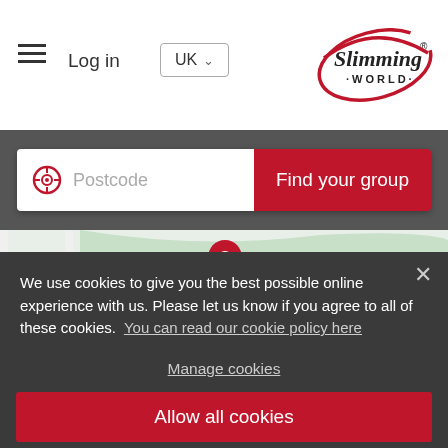[Figure (screenshot): Slimming World website header with hamburger menu, Log in text, UK dropdown, and Slimming World logo]
[Figure (screenshot): Search bar with postcode input field and red Find your group button on dark background]
[Figure (map): Partial Google Maps view showing Kendal Ave area with a red location pin marker]
We use cookies to give you the best possible online experience with us. Please let us know if you agree to all of these cookies. You can read our cookie policy here
Manage cookies
Allow all cookies